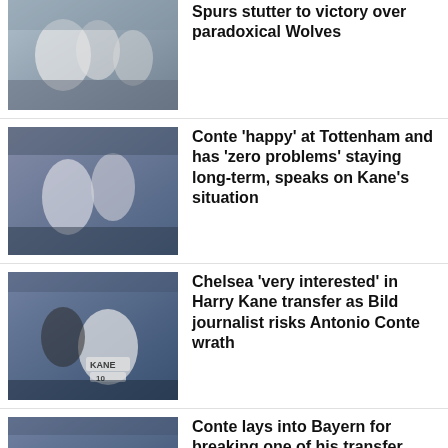[Figure (photo): Tottenham Hotspur players in white kits celebrating on pitch]
Spurs stutter to victory over paradoxical Wolves
[Figure (photo): Antonio Conte coaching Tottenham players, Harry Kane in white Spurs kit]
Conte 'happy' at Tottenham and has 'zero problems' staying long-term, speaks on Kane's situation
[Figure (photo): Conte hugging Kane in Tottenham kit, KANE 10 on back]
Chelsea 'very interested' in Harry Kane transfer as Bild journalist risks Antonio Conte wrath
[Figure (photo): Conte hugging Kane in Tottenham kit again]
Conte lays into Bayern for breaking one of his transfer rules with Kane comments
[Figure (photo): Bayern boss Nagelsmann partial photo]
Bayern boss Nagelsmann